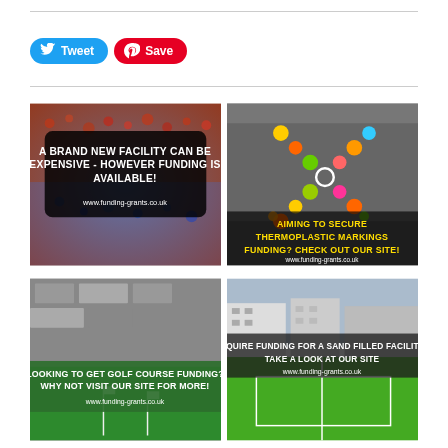[Figure (infographic): Twitter Tweet button (blue rounded) and Pinterest Save button (red rounded) on white background]
[Figure (photo): Image 1: Colorful rubber crumb surface with text overlay 'A BRAND NEW FACILITY CAN BE EXPENSIVE - HOWEVER FUNDING IS AVAILABLE!' and www.funding-grants.co.uk]
[Figure (photo): Image 2: Thermoplastic X-shaped playground markings on tarmac with text 'AIMING TO SECURE THERMOPLASTIC MARKINGS FUNDING? CHECK OUT OUR SITE!' and www.funding-grants.co.uk]
[Figure (photo): Image 3: Golf putting green with text 'LOOKING TO GET GOLF COURSE FUNDING? WHY NOT VISIT OUR SITE FOR MORE!' and www.funding-grants.co.uk]
[Figure (photo): Image 4: Sand filled sports facility/pitch with buildings in background and text 'REQUIRE FUNDING FOR A SAND FILLED FACILITY? TAKE A LOOK AT OUR SITE' and www.funding-grants.co.uk]